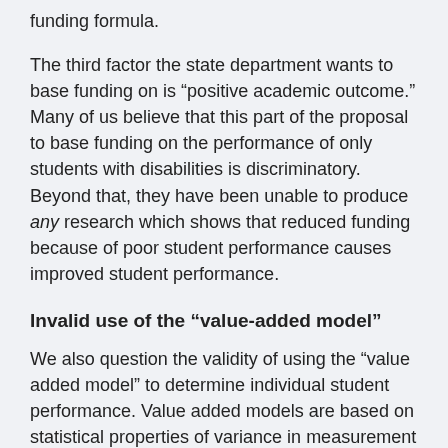funding formula.
The third factor the state department wants to base funding on is “positive academic outcome.” Many of us believe that this part of the proposal to base funding on the performance of only students with disabilities is discriminatory. Beyond that, they have been unable to produce any research which shows that reduced funding because of poor student performance causes improved student performance.
Invalid use of the “value-added model”
We also question the validity of using the “value added model” to determine individual student performance. Value added models are based on statistical properties of variance in measurement from a normal distribution of students. Our understanding is that it is an overgeneralization violation to apply statistical parameters to populations at the tail ends of the normal